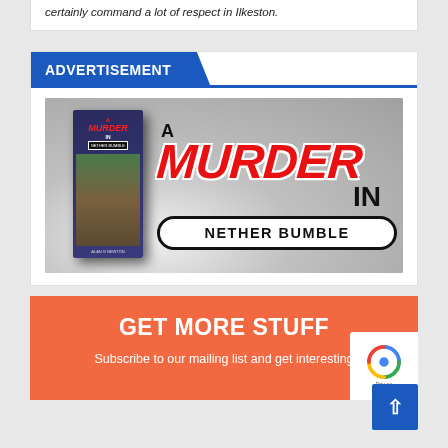certainly command a lot of respect in Ilkeston.
ADVERTISEMENT
[Figure (illustration): Book advertisement banner for 'A Murder in Nether Bumble' by Alan G Newton. Shows a 3D book cover on the left with a dark building illustration, and large stylized text on the right reading 'A MURDER IN NETHER BUMBLE' with dripping horror-style lettering in red.]
GET MORE STUFF
Subscribe to our mailing list and get interesting